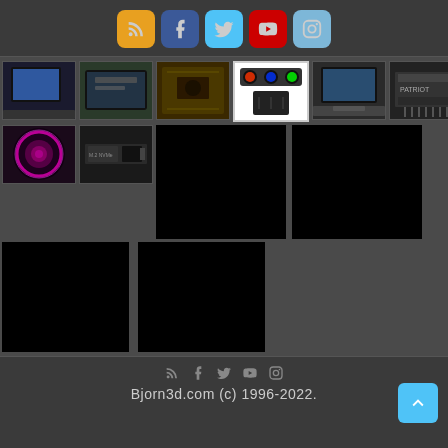Social media icons: RSS, Facebook, Twitter, YouTube, Instagram
[Figure (photo): Grid of tech product photos including laptops, tablets, PCB, liquid cooler, fan, NVMe drives, and RAM modules. Some images are blacked out/missing.]
Bjorn3d.com (c) 1996-2022.